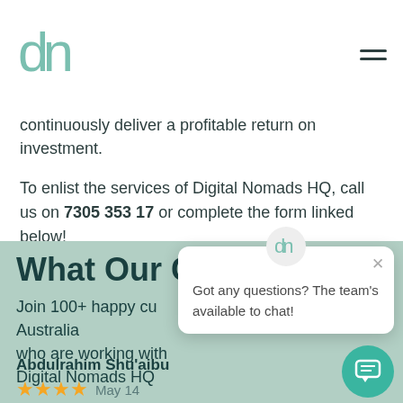Digital Nomads HQ logo and navigation
continuously deliver a profitable return on investment.
To enlist the services of Digital Nomads HQ, call us on 7305 353 17 or complete the form linked below!
What Our C
Join 100+ happy cu Australia who are working with Digital Nomads HQ
Abdulrahim Shu'aibu
★★★★ May 14
Got any questions? The team's available to chat!